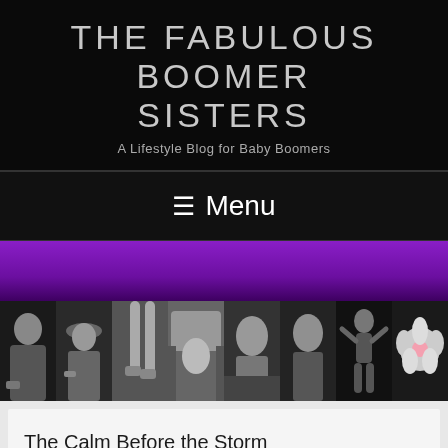THE FABULOUS BOOMER SISTERS
A Lifestyle Blog for Baby Boomers
≡ Menu
[Figure (photo): Purple gradient banner followed by a horizontal strip of 8 black-and-white photos of women in various poses including wearing a hat, doing yoga, a flower, and other lifestyle scenes.]
The Calm Before the Storm